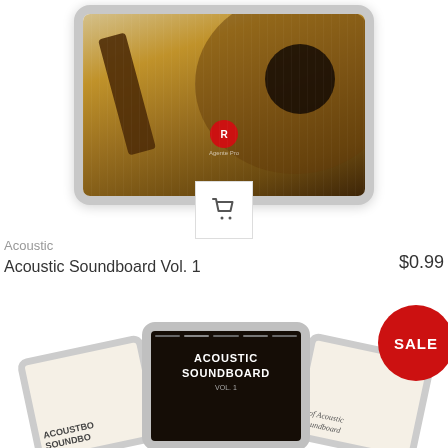[Figure (screenshot): Tablet device showing acoustic guitar app cover image with guitar and red logo icon, with a shopping cart button overlay at the bottom center]
Acoustic
Acoustic Soundboard Vol. 1
$0.99
SALE
[Figure (screenshot): Three tablet/phone devices showing the Acoustic Soundboard app — left device shows beige cover with partial text ACOUSTBC SOUNDBO, center device shows dark screen with ACOUSTIC SOUNDBOARD title, right device shows beige cover with Best of Acoustic Soundboard text]